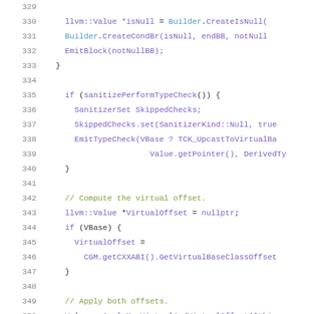[Figure (screenshot): Source code screenshot showing C++ code lines 329-350 with syntax highlighting. Line numbers in gray on left, code in purple/green/blue monospace font on white background.]